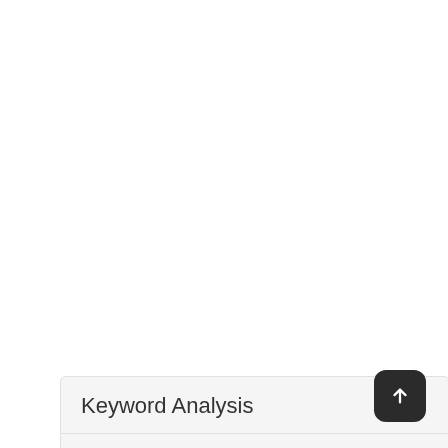Keyword Analysis
| Keyword | CPC | PCC | Volume | Score | Length |
| --- | --- | --- | --- | --- | --- |
| checking | 1.72 | 0.6 | 6657 | 5 | 6 |